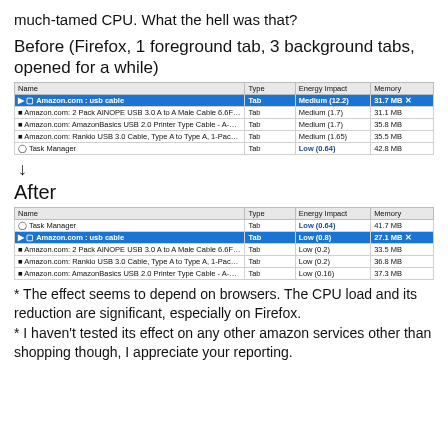much-tamed CPU. What the hell was that?
Before (Firefox, 1 foreground tab, 3 background tabs, opened for a while)
[Figure (screenshot): Firefox Task Manager screenshot showing 5 rows: Amazon.com: usb cable (highlighted, Tab, Medium 12.2, 31.7 MB), Amazon.com 2 Pack AINOPE USB 3.0 A to A Male Cable (Tab, Medium 1.7, 31.1 MB), Amazon.com: AmazonBasics USB 2.0 Printer Type Cable (Tab, Medium 1.7, 35.8 MB), Amazon.com: Rankio USB 3.0 Cable Type A to Type A (Tab, Medium 1.65, 35.5 MB), Task Manager (Tab, Low 0.64, 42.8 MB)]
↓
After
[Figure (screenshot): Firefox Task Manager screenshot after, showing 5 rows: Task Manager (Tab, Low 0.64, 41.7 MB), Amazon.com: usb cable (highlighted, Tab, Low 0.8, 27.1 MB), Amazon.com: 2 Pack AINOPE USB 3.0 A to A Male Cable (Tab, Low 0.2, 33.5 MB), Amazon.com: Rankio USB 3.0 Cable Type A to Type A (Tab, Low 0.2, 36.8 MB), Amazon.com: AmazonBasics USB 2.0 Printer Type Cable (Tab, Low 0.16, 37.3 MB)]
* The effect seems to depend on browsers. The CPU load and its reduction are significant, especially on Firefox.
* I haven't tested its effect on any other amazon services other than shopping though, I appreciate your reporting.